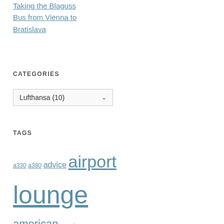Taking the Blaguss Bus from Vienna to Bratislava
CATEGORIES
Lufthansa (10)
TAGS
a330 a380 advice airport lounge american american airlines ana asiana avml awards bkk british airways business class